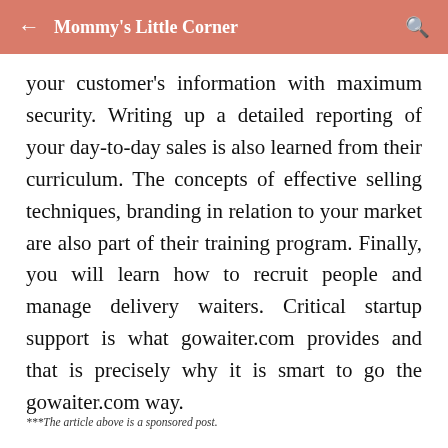Mommy's Little Corner
your customer's information with maximum security. Writing up a detailed reporting of your day-to-day sales is also learned from their curriculum. The concepts of effective selling techniques, branding in relation to your market are also part of their training program. Finally, you will learn how to recruit people and manage delivery waiters. Critical startup support is what gowaiter.com provides and that is precisely why it is smart to go the gowaiter.com way.
***The article above is a sponsored post.